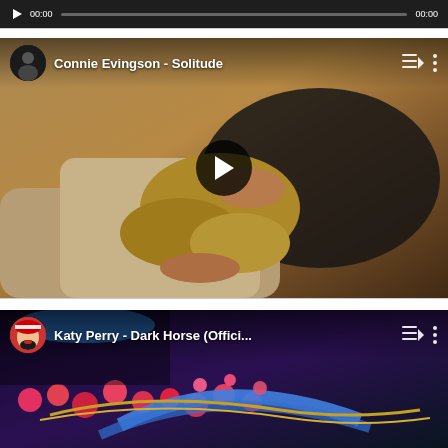[Figure (screenshot): Audio player bar at top with play button, 00:00 time on left, progress bar, and 00:00 time on right, dark background]
[Figure (screenshot): YouTube-style video thumbnail for 'Connie Evingson - Solitude' showing artwork of a blonde woman reclining with a wine glass, with play button overlay and channel avatar]
[Figure (screenshot): YouTube-style video thumbnail for 'Katy Perry - Dark Horse (Offici...' showing Katy Perry in Egyptian-themed costume with colorful necklace, partially visible at bottom of page]